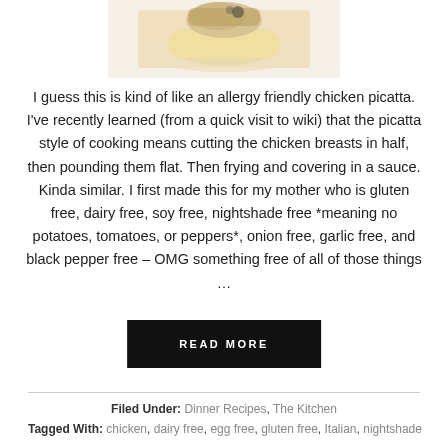[Figure (photo): Cropped top portion of a dish photo showing chicken picatta with pasta on a white plate]
I guess this is kind of like an allergy friendly chicken picatta. I've recently learned (from a quick visit to wiki) that the picatta style of cooking means cutting the chicken breasts in half, then pounding them flat. Then frying and covering in a sauce. Kinda similar. I first made this for my mother who is gluten free, dairy free, soy free, nightshade free *meaning no potatoes, tomatoes, or peppers*, onion free, garlic free, and black pepper free – OMG something free of all of those things …
READ MORE
Filed Under: Dinner Recipes, The Kitchen
Tagged With: chicken, dairy free, egg free, gluten free, Italian, nightshade